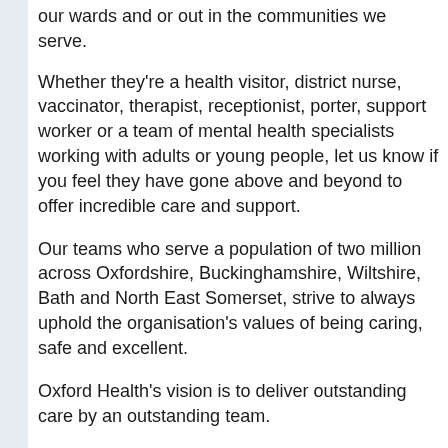our wards and or out in the communities we serve.
Whether they're a health visitor, district nurse, vaccinator, therapist, receptionist, porter, support worker or a team of mental health specialists working with adults or young people, let us know if you feel they have gone above and beyond to offer incredible care and support.
Our teams who serve a population of two million across Oxfordshire, Buckinghamshire, Wiltshire, Bath and North East Somerset, strive to always uphold the organisation's values of being caring, safe and excellent.
Oxford Health's vision is to deliver outstanding care by an outstanding team.
The new monthly Exceptional People Awards for 2021 serve to recognise that care and excellence